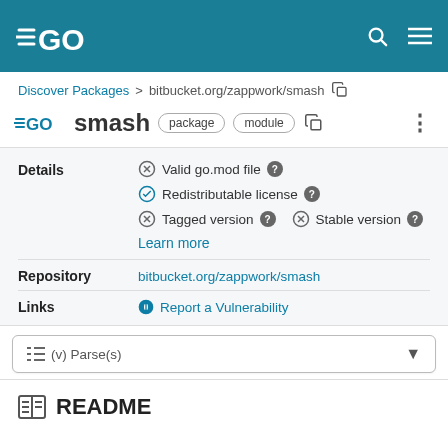GO (logo header bar)
Discover Packages > bitbucket.org/zappwork/smash
GO smash package module
Details
⊗ Valid go.mod file ?
✓ Redistributable license ?
⊗ Tagged version ? ⊗ Stable version ?
Learn more
Repository bitbucket.org/zappwork/smash
Links Report a Vulnerability
≡ (v) Parse(s)
README